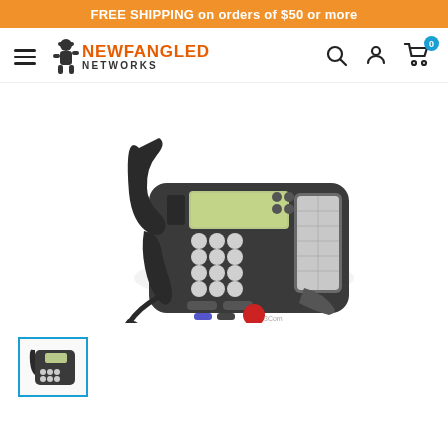FREE SHIPPING on orders of $50 or more
[Figure (logo): Newfangled Networks logo with figure graphic and orange/black text]
[Figure (photo): Dark gray office desk phone with handset, LCD display, numeric keypad, function buttons, and speed dial panel]
[Figure (photo): Thumbnail image of the same dark gray office desk phone]